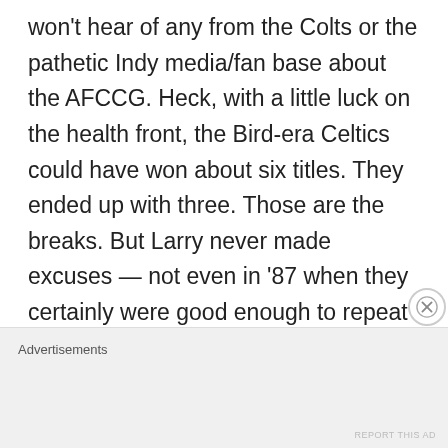won't hear of any from the Colts or the pathetic Indy media/fan base about the AFCCG. Heck, with a little luck on the health front, the Bird-era Celtics could have won about six titles. They ended up with three. Those are the breaks. But Larry never made excuses — not even in '87 when they certainly were good enough to repeat as champs, but injuries and the death of Len Bias pretty much crippled them
Advertisements